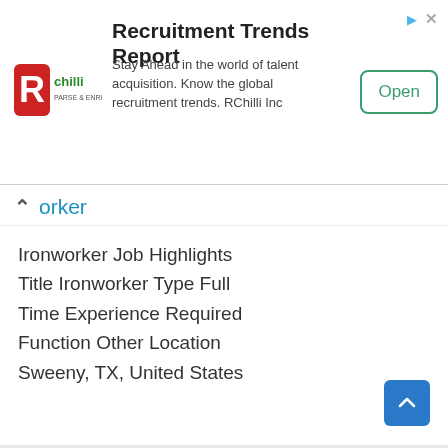[Figure (logo): RChilli logo - red R with green Chilli text and tagline]
Recruitment Trends Report
Stay Ahead in the world of talent acquisition. Know the global recruitment trends. RChilli Inc
Open
orker
Ironworker Job Highlights Title Ironworker Type Full Time Experience Required Function Other Location Sweeny, TX, United States